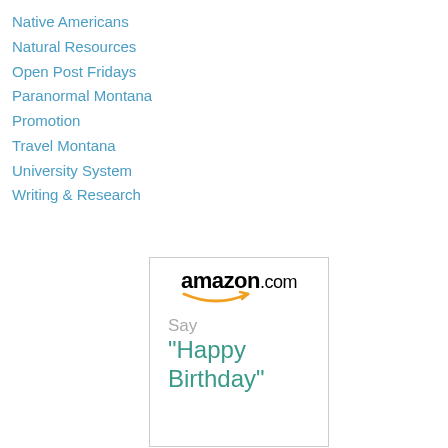Native Americans
Natural Resources
Open Post Fridays
Paranormal Montana
Promotion
Travel Montana
University System
Writing & Research
[Figure (logo): Amazon.com advertisement banner with logo and text 'Say Happy Birthday']